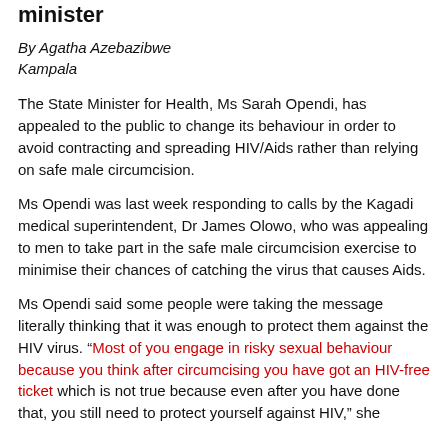minister
By Agatha Azebazibwe
Kampala
The State Minister for Health, Ms Sarah Opendi, has appealed to the public to change its behaviour in order to avoid contracting and spreading HIV/Aids rather than relying on safe male circumcision.
Ms Opendi was last week responding to calls by the Kagadi medical superintendent, Dr James Olowo, who was appealing to men to take part in the safe male circumcision exercise to minimise their chances of catching the virus that causes Aids.
Ms Opendi said some people were taking the message literally thinking that it was enough to protect them against the HIV virus. “Most of you engage in risky sexual behaviour because you think after circumcising you have got an HIV-free ticket which is not true because even after you have done that, you still need to protect yourself against HIV,” she